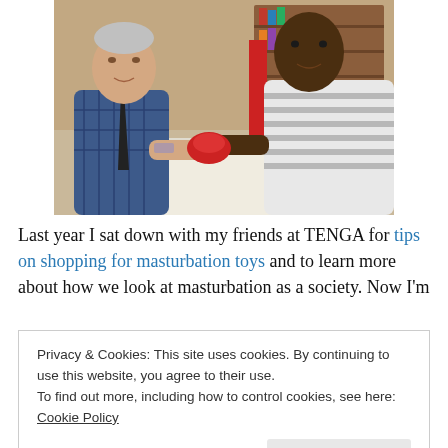[Figure (photo): Two men shaking hands or exchanging an object at what appears to be an indoor event. One man is white with tattoos wearing a plaid shirt, the other is Black wearing a striped shirt. There is a red object between them, and a white tablecloth in the background.]
Last year I sat down with my friends at TENGA for tips on shopping for masturbation toys and to learn more about how we look at masturbation as a society. Now I'm
Privacy & Cookies: This site uses cookies. By continuing to use this website, you agree to their use.
To find out more, including how to control cookies, see here: Cookie Policy
[Close and accept]
was spread. First felt uncomfortable with openly